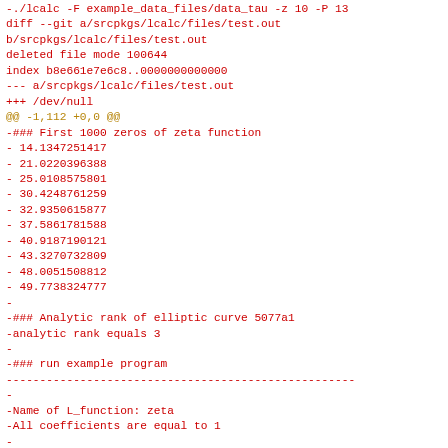diff file output showing deletion of test.out with zeta function zeros and elliptic curve analytic rank data
-./lcalc -F example_data_files/data_tau -z 10 -P 13
diff --git a/srcpkgs/lcalc/files/test.out
b/srcpkgs/lcalc/files/test.out
deleted file mode 100644
index b8e661e7e6c8..0000000000000
--- a/srcpkgs/lcalc/files/test.out
+++ /dev/null
@@ -1,112 +0,0 @@
-### First 1000 zeros of zeta function
- 14.1347251417
- 21.0220396388
- 25.0108575801
- 30.4248761259
- 32.9350615877
- 37.5861781588
- 40.9187190121
- 43.3270732809
- 48.0051508812
- 49.7738324777
-
-### Analytic rank of elliptic curve 5077a1
-analytic rank equals 3
-
-### run example program
----------------------------------------------------
-
-Name of L_function: zeta
-All coefficients are equal to 1
-
-0 = 0.564189583548